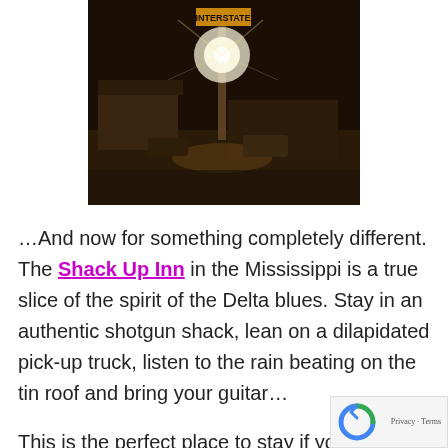[Figure (photo): Night-time photo of a roadside sign and building illuminated by a bright light, dark sky background, appears to be the Shack Up Inn sign area in Mississippi Delta]
…And now for something completely different. The Shack Up Inn in the Mississippi is a true slice of the spirit of the Delta blues. Stay in an authentic shotgun shack, lean on a dilapidated pick-up truck, listen to the rain beating on the tin roof and bring your guitar…
This is the perfect place to stay if you want to harken back to a simpler time!
It's not really my cup of tea, but my husband